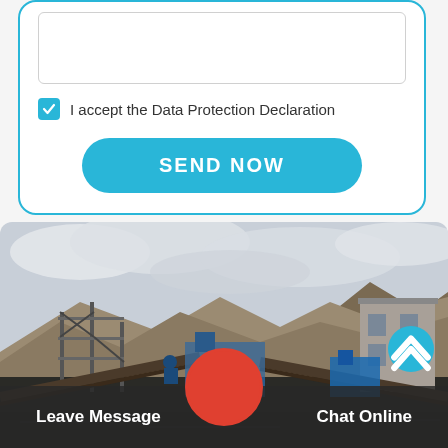[Text area input field]
I accept the Data Protection Declaration
SEND NOW
[Figure (photo): Industrial construction site with scaffolding, conveyor belts, machinery, and hillside in background under cloudy sky]
Leave Message
Chat Online